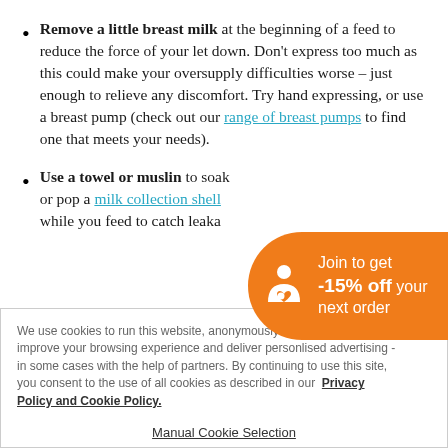Remove a little breast milk at the beginning of a feed to reduce the force of your let down. Don't express too much as this could make your oversupply difficulties worse – just enough to relieve any discomfort. Try hand expressing, or use a breast pump (check out our range of breast pumps to find one that meets your needs).
Use a towel or muslin to soak… or pop a milk collection shell … while you feed to catch leaka…
[Figure (infographic): Orange rounded badge/banner promoting membership discount: icon of a person with a baby feeding, text 'Join to get -15% off your next order']
We use cookies to run this website, anonymously measure site usage, improve your browsing experience and deliver personlised advertising - in some cases with the help of partners. By continuing to use this site, you consent to the use of all cookies as described in our Privacy Policy and Cookie Policy.
Manual Cookie Selection